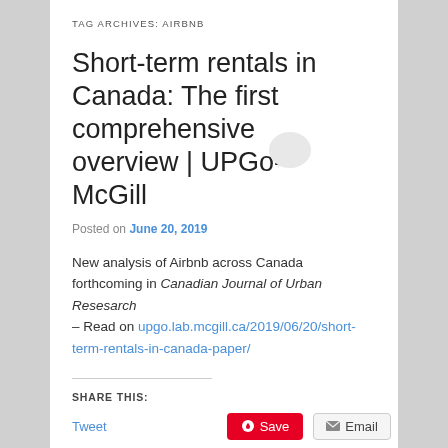TAG ARCHIVES: AIRBNB
Short-term rentals in Canada: The first comprehensive overview | UPGo-McGill
Posted on June 20, 2019
New analysis of Airbnb across Canada forthcoming in Canadian Journal of Urban Resesarch – Read on upgo.lab.mcgill.ca/2019/06/20/short-term-rentals-in-canada-paper/
SHARE THIS:
Tweet  Save  Email
Print